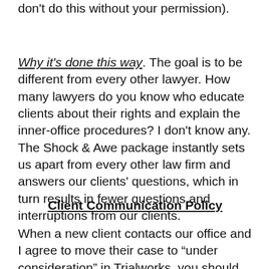don't do this without your permission).
Why it's done this way. The goal is to be different from every other lawyer. How many lawyers do you know who educate clients about their rights and explain the inner-office procedures? I don't know any. The Shock & Awe package instantly sets us apart from every other law firm and answers our clients' questions, which in turn results in fewer questions and interruptions from our clients.
Client Communication Policy
When a new client contacts our office and I agree to move their case to “under consideration” in Trialworks, you should mail the seven-page